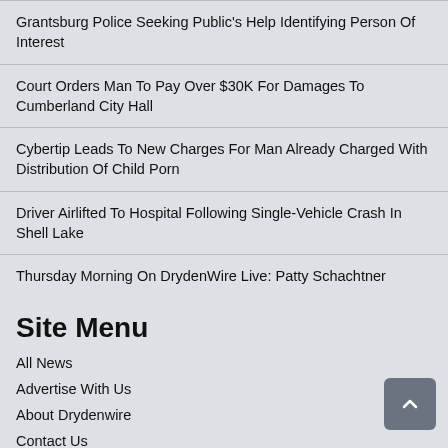Grantsburg Police Seeking Public's Help Identifying Person Of Interest
Court Orders Man To Pay Over $30K For Damages To Cumberland City Hall
Cybertip Leads To New Charges For Man Already Charged With Distribution Of Child Porn
Driver Airlifted To Hospital Following Single-Vehicle Crash In Shell Lake
Thursday Morning On DrydenWire Live: Patty Schachtner
Site Menu
All News
Advertise With Us
About Drydenwire
Contact Us
News By County